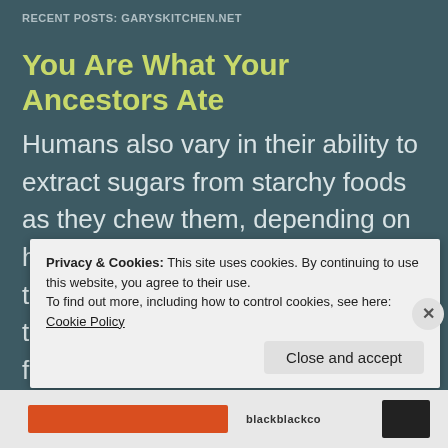RECENT POSTS: GARYSKITCHEN.NET
You Are What Your Ancestors Ate
Humans also vary in their ability to extract sugars from starchy foods as they chew them, depending on how many copies of a certain gene they inherit. Populations that traditionally ate more starchy foods, such as the Hadza, have more copies of the gene than the Yakut meat-eaters of Siberia, and
Privacy & Cookies: This site uses cookies. By continuing to use this website, you agree to their use.
To find out more, including how to control cookies, see here: Cookie Policy
Close and accept